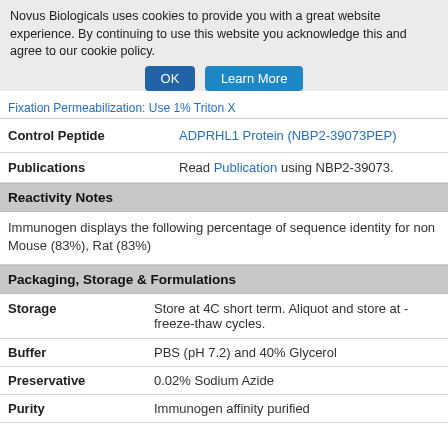Novus Biologicals uses cookies to provide you with a great website experience. By continuing to use this website you acknowledge this and agree to our cookie policy.
OK  Learn More
Fixation Permeabilization: Use 1% Triton X
|  |  |
| --- | --- |
| Control Peptide | ADPRHL1 Protein (NBP2-39073PEP) |
| Publications | Read Publication using NBP2-39073. |
Reactivity Notes
Immunogen displays the following percentage of sequence identity for non Mouse (83%), Rat (83%)
Packaging, Storage & Formulations
|  |  |
| --- | --- |
| Storage | Store at 4C short term. Aliquot and store at - freeze-thaw cycles. |
| Buffer | PBS (pH 7.2) and 40% Glycerol |
| Preservative | 0.02% Sodium Azide |
| Purity | Immunogen affinity purified |